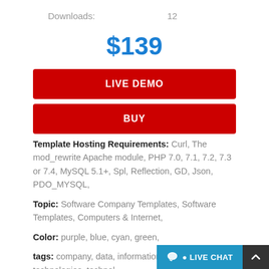Downloads: 12
$139
LIVE DEMO
BUY
Template Hosting Requirements: Curl, The mod_rewrite Apache module, PHP 7.0, 7.1, 7.2, 7.3 or 7.4, MySQL 5.1+, Spl, Reflection, GD, Json, PDO_MYSQL,
Topic: Software Company Templates, Software Templates, Computers & Internet,
Color: purple, blue, cyan, green,
tags: company, data, information, pr startup, tech, technologies, technol